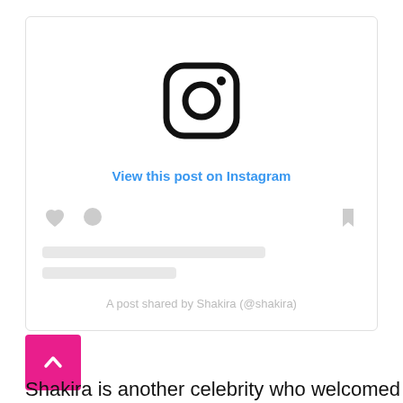[Figure (screenshot): Instagram embedded post placeholder card showing the Instagram logo, 'View this post on Instagram' link in blue, social action icons (heart, comment, bookmark), skeleton loading lines, and attribution text 'A post shared by Shakira (@shakira)']
[Figure (other): Pink back-to-top button with upward chevron arrow]
Shakira is another celebrity who welcomed